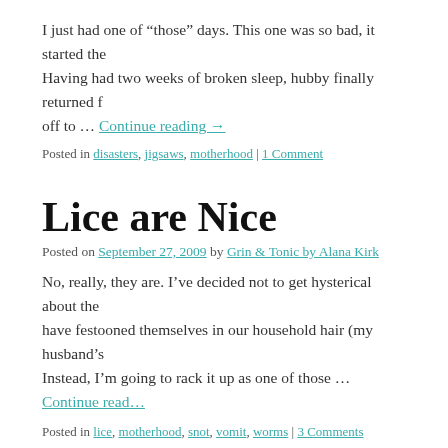I just had one of “those” days. This one was so bad, it started the… Having had two weeks of broken sleep, hubby finally returned f… off to … Continue reading →
Posted in disasters, jigsaws, motherhood | 1 Comment
Lice are Nice
Posted on September 27, 2009 by Grin & Tonic by Alana Kirk
No, really, they are. I’ve decided not to get hysterical about the… have festooned themselves in our household hair (my husband’s… Instead, I’m going to rack it up as one of those … Continue read…
Posted in lice, motherhood, snot, vomit, worms | 3 Comments
Killer Food
Posted on September 18, 2009 by Grin & Tonic by Alana Kirk